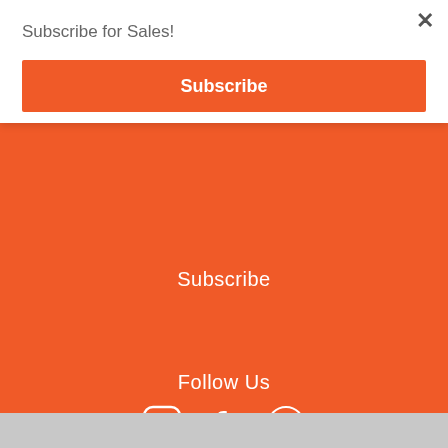Subscribe for Sales!
Subscribe
Subscribe
Follow Us
[Figure (infographic): Social media icons: Instagram, Facebook, Pinterest]
[Figure (infographic): Payment logos: VISA, Mastercard, American Express, Verified by VISA, Mastercard SecureCode]
© 2022 Store name. Powered by ...